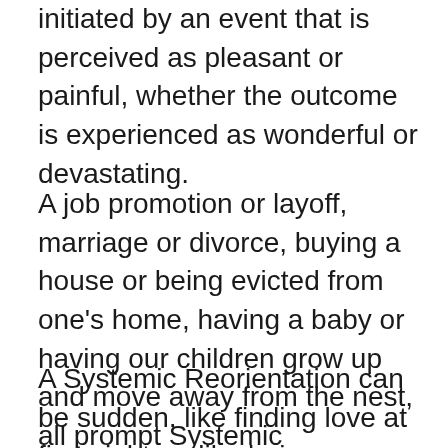initiated by an event that is perceived as pleasant or painful, whether the outcome is experienced as wonderful or devastating.
A job promotion or layoff, marriage or divorce, buying a house or being evicted from one’s home, having a baby or having our children grow up and move away from the nest, all prompt Systemic Reorientation.
A Systemic Reorientation can be sudden, like finding love at first sight, or like being diagnosed with a terminal disease.